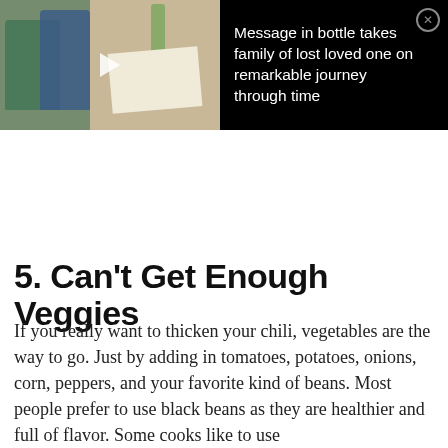[Figure (photo): Black ad banner with a photo on the left showing two people hugging in a room, and a photo on the right showing a green bottle and a paper/document on a table. A play button icon is overlaid on the left photo.]
Message in bottle takes family of lost loved one on remarkable journey through time
5. Can't Get Enough Veggies
If you really want to thicken your chili, vegetables are the way to go. Just by adding in tomatoes, potatoes, onions, corn, peppers, and your favorite kind of beans. Most people prefer to use black beans as they are healthier and full of flavor. Some cooks like to use